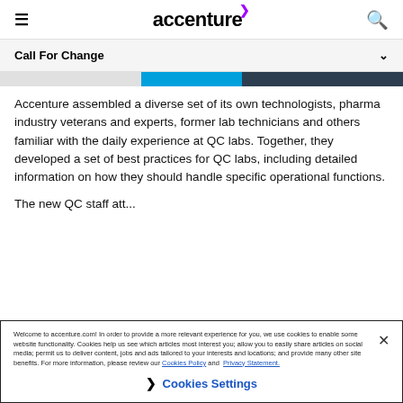accenture
Call For Change
[Figure (photo): Partial image strip showing blurred/cropped photos with blue band]
Accenture assembled a diverse set of its own technologists, pharma industry veterans and experts, former lab technicians and others familiar with the daily experience at QC labs. Together, they developed a set of best practices for QC labs, including detailed information on how they should handle specific operational functions.
The new QC staff...
Welcome to accenture.com! In order to provide a more relevant experience for you, we use cookies to enable some website functionality. Cookies help us see which articles most interest you; allow you to easily share articles on social media; permit us to deliver content, jobs and ads tailored to your interests and locations; and provide many other site benefits. For more information, please review our Cookies Policy and Privacy Statement.
Cookies Settings